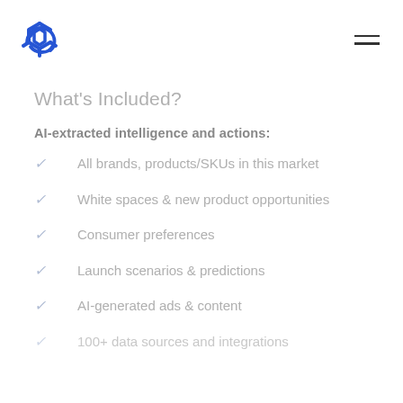Logo and navigation menu
What's Included?
AI-extracted intelligence and actions:
All brands, products/SKUs in this market
White spaces & new product opportunities
Consumer preferences
Launch scenarios & predictions
AI-generated ads & content
100+ data sources and integrations